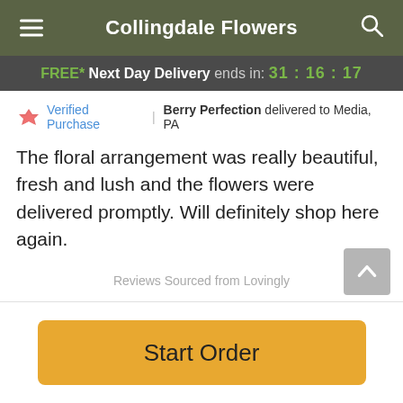Collingdale Flowers
FREE* Next Day Delivery ends in: 31:16:17
Verified Purchase | Berry Perfection delivered to Media, PA
The floral arrangement was really beautiful, fresh and lush and the flowers were delivered promptly. Will definitely shop here again.
Reviews Sourced from Lovingly
You May Also Like
Start Order